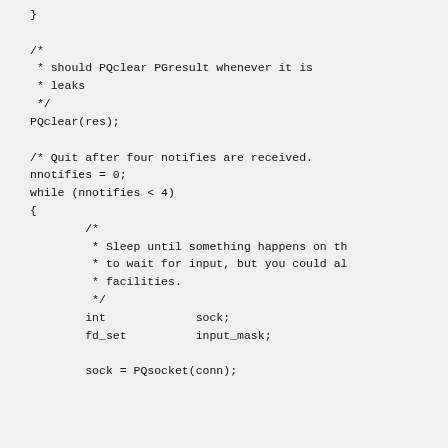}

/*
 * should PQclear PGresult whenever it is
 * leaks
 */
PQclear(res);

/* Quit after four notifies are received.
nnotifies = 0;
while (nnotifies < 4)
{
        /*
         * Sleep until something happens on th
         * to wait for input, but you could al
         * facilities.
         */
        int             sock;
        fd_set          input_mask;

        sock = PQsocket(conn);